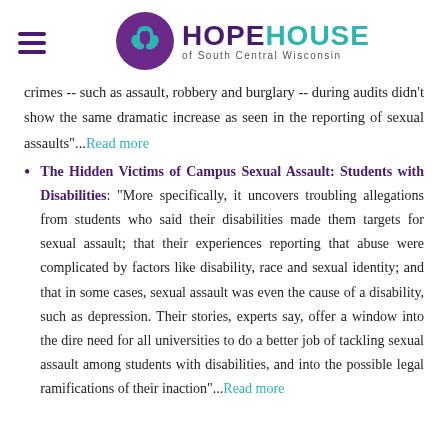HOPEHOUSE of South Central Wisconsin
crimes -- such as assault, robbery and burglary -- during audits didn't show the same dramatic increase as seen in the reporting of sexual assaults"...Read more
The Hidden Victims of Campus Sexual Assault: Students with Disabilities: "More specifically, it uncovers troubling allegations from students who said their disabilities made them targets for sexual assault; that their experiences reporting that abuse were complicated by factors like disability, race and sexual identity; and that in some cases, sexual assault was even the cause of a disability, such as depression. Their stories, experts say, offer a window into the dire need for all universities to do a better job of tackling sexual assault among students with disabilities, and into the possible legal ramifications of their inaction"...Read more